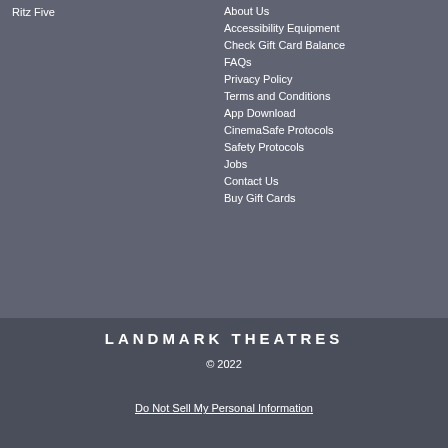Ritz Five
About Us
Accessibility Equipment
Check Gift Card Balance
FAQs
Privacy Policy
Terms and Conditions
App Download
CinemaSafe Protocols
Safety Protocols
Jobs
Contact Us
Buy Gift Cards
LANDMARK THEATRES
© 2022
Do Not Sell My Personal Information